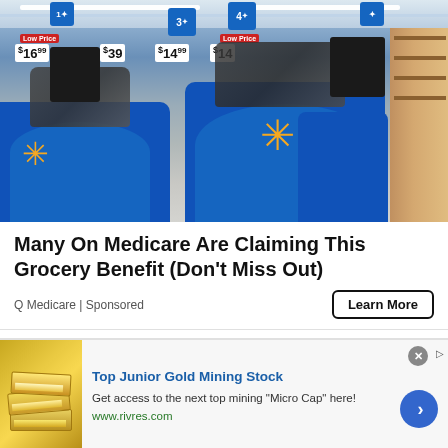[Figure (photo): Walmart store checkout area with blue self-checkout counters, Walmart spark logos in gold/yellow, price signs visible in background including $16, $39, $14 price tags, fluorescent ceiling lights, and store shelves on the right side.]
Many On Medicare Are Claiming This Grocery Benefit (Don't Miss Out)
Q Medicare | Sponsored
Learn More
[Figure (photo): Advertisement banner for Top Junior Gold Mining Stock showing gold bars image on left side.]
Top Junior Gold Mining Stock
Get access to the next top mining "Micro Cap" here!
www.rivres.com